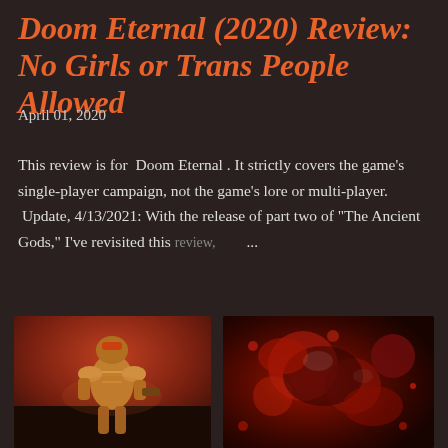Doom Eternal (2020) Review: No Girls or Trans People Allowed
April 01, 2020
This review is for  Doom Eternal . It strictly covers the game's single-player campaign, not the game's lore or multi-player.  Update, 4/13/2021: With the release of part two of "The Ancient Gods," I've revisited this review,      ...
SHARE   59 COMMENTS   READ MORE
[Figure (photo): Gold-armored Doom Slayer figure standing against a reddish background]
[Figure (photo): Close-up of blood and gore imagery in dark red tones]